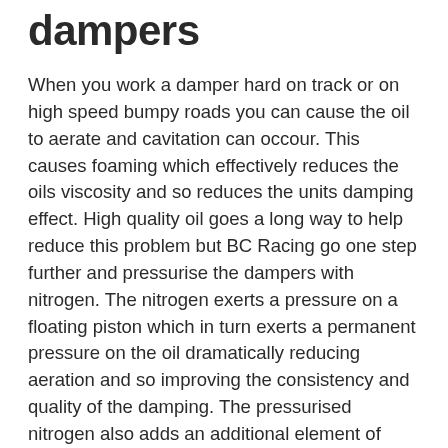dampers
When you work a damper hard on track or on high speed bumpy roads you can cause the oil to aerate and cavitation can occour. This causes foaming which effectively reduces the oils viscosity and so reduces the units damping effect. High quality oil goes a long way to help reduce this problem but BC Racing go one step further and pressurise the dampers with nitrogen. The nitrogen exerts a pressure on a floating piston which in turn exerts a permanent pressure on the oil dramatically reducing aeration and so improving the consistency and quality of the damping. The pressurised nitrogen also adds an additional element of effective spring rate to the damper unit.